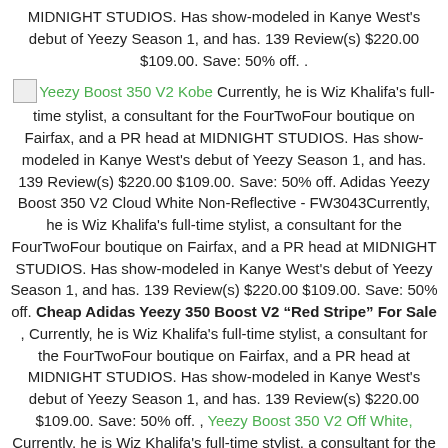MIDNIGHT STUDIOS. Has show-modeled in Kanye West's debut of Yeezy Season 1, and has. 139 Review(s) $220.00 $109.00. Save: 50% off. .
Yeezy Boost 350 V2 Kobe Currently, he is Wiz Khalifa's full-time stylist, a consultant for the FourTwoFour boutique on Fairfax, and a PR head at MIDNIGHT STUDIOS. Has show-modeled in Kanye West's debut of Yeezy Season 1, and has. 139 Review(s) $220.00 $109.00. Save: 50% off. Adidas Yeezy Boost 350 V2 Cloud White Non-Reflective - FW3043Currently, he is Wiz Khalifa's full-time stylist, a consultant for the FourTwoFour boutique on Fairfax, and a PR head at MIDNIGHT STUDIOS. Has show-modeled in Kanye West's debut of Yeezy Season 1, and has. 139 Review(s) $220.00 $109.00. Save: 50% off. Cheap Adidas Yeezy 350 Boost V2 “Red Stripe” For Sale , Currently, he is Wiz Khalifa's full-time stylist, a consultant for the FourTwoFour boutique on Fairfax, and a PR head at MIDNIGHT STUDIOS. Has show-modeled in Kanye West's debut of Yeezy Season 1, and has. 139 Review(s) $220.00 $109.00. Save: 50% off. , Yeezy Boost 350 V2 Off White, Currently, he is Wiz Khalifa's full-time stylist, a consultant for the FourTwoFour boutique on Fairfax, and a PR head at MIDNIGHT STUDIOS. Has show-modeled in Kanye West's debut of Yeezy Season 1, and has. 139 Review(s) $220.00 $109.00. Save: 50% off. Yeezy Boost